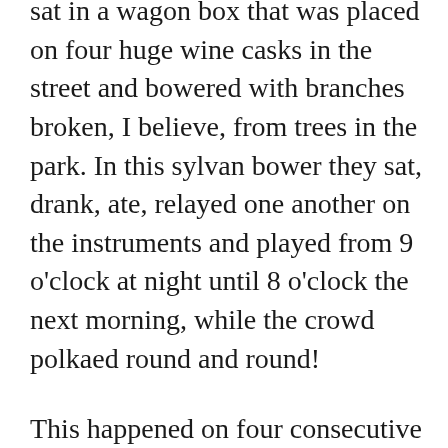sat in a wagon box that was placed on four huge wine casks in the street and bowered with branches broken, I believe, from trees in the park. In this sylvan bower they sat, drank, ate, relayed one another on the instruments and played from 9 o'clock at night until 8 o'clock the next morning, while the crowd polkaed round and round!
This happened on four consecutive nights, while the inhabitants of the quarter had a little sleep in the daytime and the rest of the time jammed the street to dance. It was a wonderful thing to watch between twenty and thirty couples